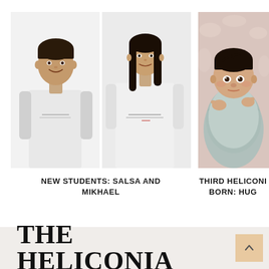[Figure (photo): Two people wearing white t-shirts with text on them — a young man on the left and a woman on the right — standing against a white/light background. Side-by-side portrait photos.]
NEW STUDENTS: SALSA AND MIKHAEL
[Figure (photo): A newborn baby wrapped in a light teal/grey swaddle cloth, lying on a fluffy light-colored blanket, looking at the camera.]
THIRD HELICONI BORN: HUG
THE HELICONIA